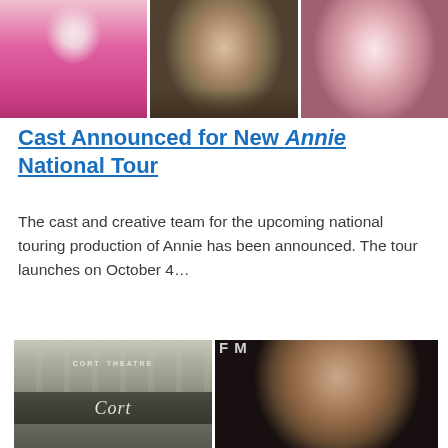[Figure (photo): Three headshot photos side by side: a woman in pink top, a man, and a woman]
Cast Announced for New Annie National Tour
The cast and creative team for the upcoming national touring production of Annie has been announced. The tour launches on October 4...
[Figure (photo): Left: exterior of Cort Theatre building. Right: headshot of an older Black man with gray hair and beard, wearing glasses and a black turtleneck, smiling.]